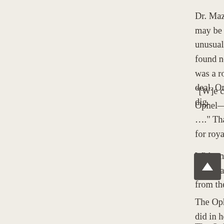Dr. Mazar is convinced that as the dirt and debris may be a surprise. About seven short years ago, D unusually early find—and a large one at that—whe found not far below the surface, in the City of Davi was a royal construction with certain majesty that s deal. One can only wonder if the wind of advantag dig.
"[W]e can be surprised by the facts", Mazar said. Ophel—very heart of the acropolis, and what we s …." That would not be anything new for Mazar. He for royal constructions.
With an eager smile, she highlighted a few goals f practical plans to dramatically improve the turn-ar from the Ophel and wants to be "as ready as poss
The Ophel Excavation 2012 is going to be a direct did in her first Ophel phase—near the water gate o core of the Ophel—the most important part," said M fantastic."
The Ophel has not been bursting with this much a
As the sun crested over the Mount of Olives Augus